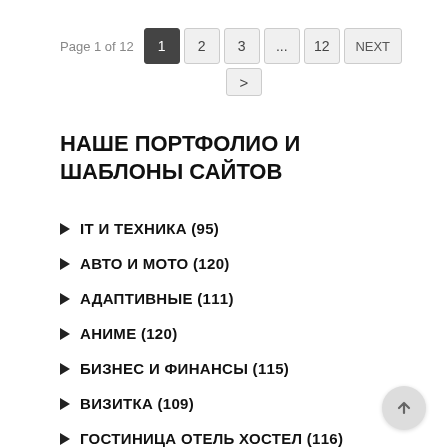Page 1 of 12  1  2  3  ...  12  NEXT  >
НАШЕ ПОРТФОЛИО И ШАБЛОНЫ САЙТОВ
▶ IT И ТЕХНИКА (95)
▶ АВТО И МОТО (120)
▶ АДАПТИВНЫЕ (111)
▶ АНИМЕ (120)
▶ БИЗНЕС И ФИНАНСЫ (115)
▶ ВИЗИТКА (109)
▶ ГОСТИНИЦА ОТЕЛЬ ХОСТЕЛ (116)